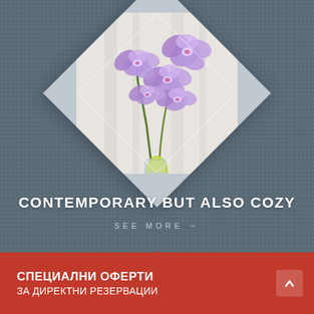[Figure (photo): Purple orchid flowers in a glass vase displayed in a diamond-shaped rotated frame against a dark grey dotted background]
CONTEMPORARY BUT ALSO COZY
SEE MORE →
СПЕЦИАЛНИ ОФЕРТИ ЗА ДИРЕКТНИ РЕЗЕРВАЦИИ